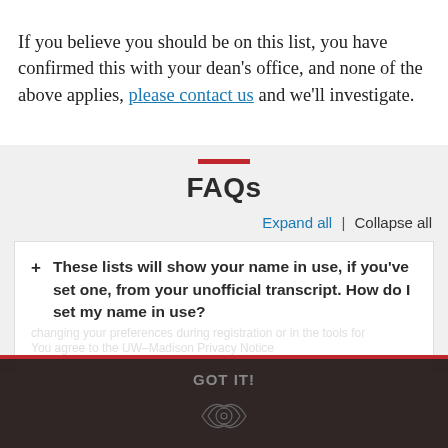If you believe you should be on this list, you have confirmed this with your dean's office, and none of the above applies, please contact us and we'll investigate.
FAQs
Expand all | Collapse all
+ These lists will show your name in use, if you've set one, from your unofficial transcript. How do I set my name in use?
GOT IT!